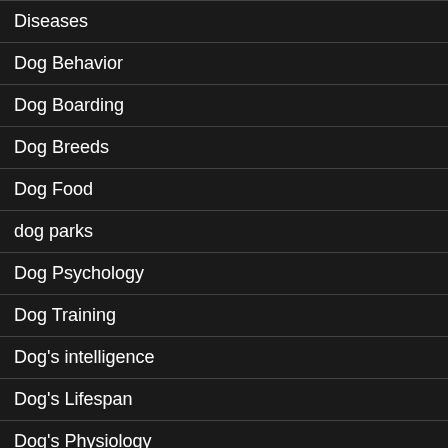Diseases
Dog Behavior
Dog Boarding
Dog Breeds
Dog Food
dog parks
Dog Psychology
Dog Training
Dog's intelligence
Dog's Lifespan
Dog's Physiology
Dogs